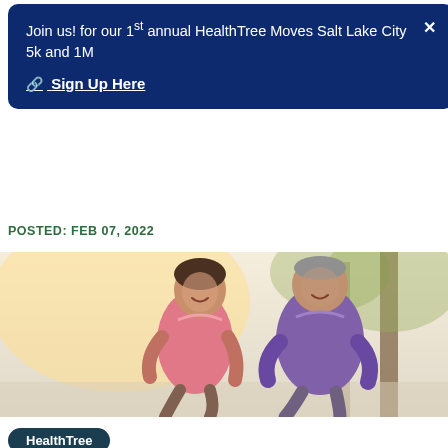Join us! for our 1st annual HealthTree Moves Salt Lake City 5k and 1M
🔗 Sign Up Here
POSTED: FEB 07, 2022
[Figure (photo): Two elderly people jogging outdoors together, smiling, one wearing pink and one wearing purple, with trees in the background]
HealthTree